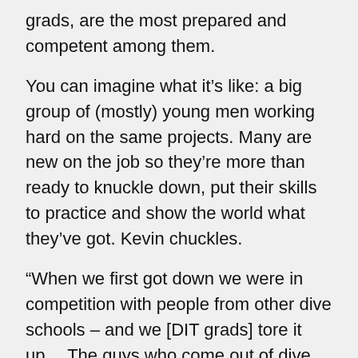grads, are the most prepared and competent among them.
You can imagine what it’s like: a big group of (mostly) young men working hard on the same projects. Many are new on the job so they’re more than ready to knuckle down, put their skills to practice and show the world what they’ve got. Kevin chuckles.
“When we first got down we were in competition with people from other dive schools – and we [DIT grads] tore it up… The guys who come out of dive schools in Scotland, Australia, France, or wherever, don’t catch quite as much as we do because their schools are shorter – 4 months instead of 7 months. … As a breakout hand overseas I was many steps ahead of